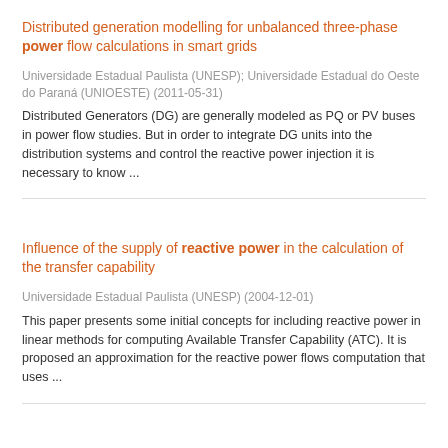Distributed generation modelling for unbalanced three-phase power flow calculations in smart grids
Universidade Estadual Paulista (UNESP); Universidade Estadual do Oeste do Paraná (UNIOESTE) (2011-05-31)
Distributed Generators (DG) are generally modeled as PQ or PV buses in power flow studies. But in order to integrate DG units into the distribution systems and control the reactive power injection it is necessary to know ...
Influence of the supply of reactive power in the calculation of the transfer capability
Universidade Estadual Paulista (UNESP) (2004-12-01)
This paper presents some initial concepts for including reactive power in linear methods for computing Available Transfer Capability (ATC). It is proposed an approximation for the reactive power flows computation that uses ...